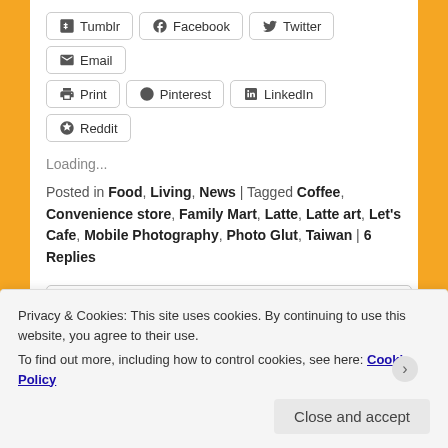[Figure (other): Row of share buttons: Tumblr, Facebook, Twitter, Email, Print, Pinterest, LinkedIn, Reddit]
Loading...
Posted in Food, Living, News | Tagged Coffee, Convenience store, Family Mart, Latte, Latte art, Let's Cafe, Mobile Photography, Photo Glut, Taiwan | 6 Replies
[Figure (other): Search input box with magnifying glass icon and placeholder text 'Search']
Privacy & Cookies: This site uses cookies. By continuing to use this website, you agree to their use. To find out more, including how to control cookies, see here: Cookie Policy
Close and accept